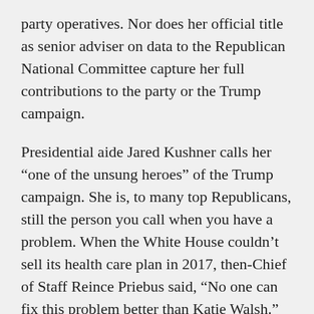party operatives. Nor does her official title as senior adviser on data to the Republican National Committee capture her full contributions to the party or the Trump campaign.
Presidential aide Jared Kushner calls her “one of the unsung heroes” of the Trump campaign. She is, to many top Republicans, still the person you call when you have a problem. When the White House couldn’t sell its health care plan in 2017, then-Chief of Staff Reince Priebus said, “No one can fix this problem better than Katie Walsh.”
Steve Bannon, the bane of the Establishment, also is a fan, once calling her “a vital link that pulls things together and makes things happen.” To Marc Short, chief of staff to Vice President Mike Pence, one of the most experienced hired-hand lobbyists in town,